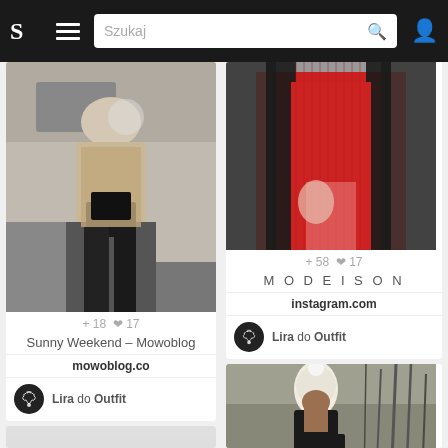[Figure (screenshot): Mobile app navigation bar with logo S, hamburger menu, search field with placeholder Szukaj, and user profile icon on dark background]
[Figure (photo): Fashion photo: woman in beige/tan knit cardigan holding phone and black clutch bag, black pants, street style]
+ 18  17
Sunny Weekend – Mowoblog
mowoblog.co
Lira do Outfit
[Figure (photo): Fashion photo: woman in red ribbed sweater and black leather jacket, close-up on torso]
+ 58  17
M O D E I S O N
instagram.com
Lira do Outfit
[Figure (photo): Fashion photo: woman from behind wearing white pom-pom beanie hat, black jacket, holding red cup, winter outdoor setting]